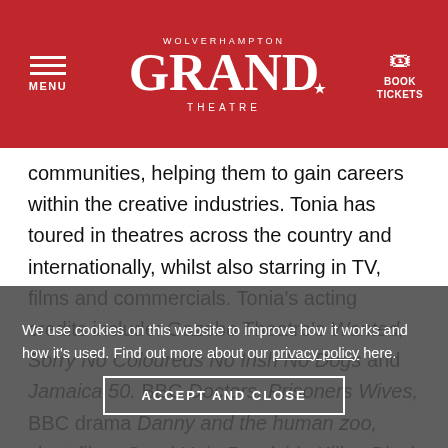[Figure (logo): Wolverhampton Grand Theatre logo with hamburger menu and Book Tickets button on red header background]
communities, helping them to gain careers within the creative industries. Tonia has toured in theatres across the country and internationally, whilst also starring in TV, films and commercials. Tonia's acting credits include: Gazebo Theatre's Wanted, Sorry No Coloureds No Irish No Dogs and Jamaica 50. BBC Doctors, Prisoners Wives, BBC drama Danny and the human zoo, short films Good Hair, Roadside Killer, Black Hill and award-winning BBC Creatives, The Boy shaped space. Tonia is one of the directors of TV, Film and Theatre production company Theínic Creative Limited with business partner and friend Augustin Johnson. Tonia is currently the new Audience Development consultant for The Grand Theatre
We use cookies on this website to improve how it works and how it's used. Find out more about our privacy policy here.